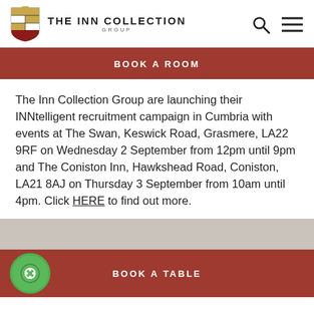THE INN COLLECTION GROUP
BOOK A ROOM
The Inn Collection Group are launching their INNtelligent recruitment campaign in Cumbria with events at The Swan, Keswick Road, Grasmere, LA22 9RF on Wednesday 2 September from 12pm until 9pm and The Coniston Inn, Hawkshead Road, Coniston, LA21 8AJ on Thursday 3 September from 10am until 4pm. Click HERE to find out more.
BOOK A TABLE